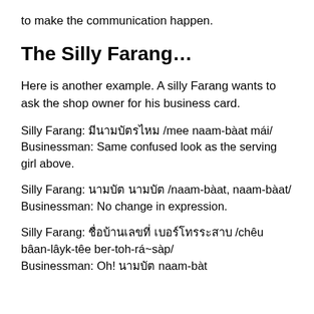to make the communication happen.
The Silly Farang…
Here is another example. A silly Farang wants to ask the shop owner for his business card.
Silly Farang: มีนามบัตรไหม /mee naam-bàat mái/
Businessman: Same confused look as the serving girl above.
Silly Farang: นามบัต นามบัต /naam-bàat, naam-bàat/
Businessman: No change in expression.
Silly Farang: ชื่อบ้านเลยที่ เบอร์โทรระสาป /chêu bâan-lâyk-têe ber-toh-rá~sàp/
Businessman: Oh! นามบัต naam-bàt